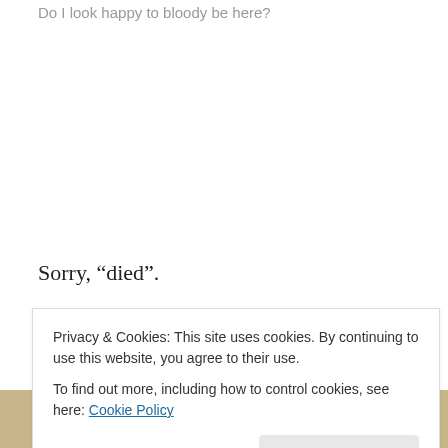Do I look happy to bloody be here?
Sorry, “died”.
This is how we find Jack Carter: a cool mix of suspicion, grief and nice suits paid for with ill-gotten gains, training it north to find out what the fuck’s gone on with his brother, and – most importantly – who’s to blame. Continue reading →
Privacy & Cookies: This site uses cookies. By continuing to use this website, you agree to their use.
To find out more, including how to control cookies, see here: Cookie Policy
[Figure (other): Partial image at the bottom of the page showing large text 'than a week' in a decorative or stylized format]